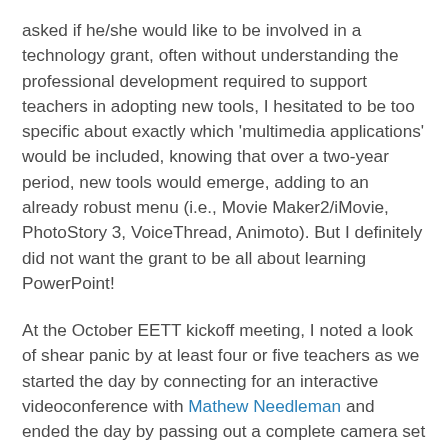asked if he/she would like to be involved in a technology grant, often without understanding the professional development required to support teachers in adopting new tools, I hesitated to be too specific about exactly which 'multimedia applications' would be included, knowing that over a two-year period, new tools would emerge, adding to an already robust menu (i.e., Movie Maker2/iMovie, PhotoStory 3, VoiceThread, Animoto). But I definitely did not want the grant to be all about learning PowerPoint!
At the October EETT kickoff meeting, I noted a look of shear panic by at least four or five teachers as we started the day by connecting for an interactive videoconference with Mathew Needleman and ended the day by passing out a complete camera set (bag, tripod, microphone, two cameras) for each site. I wondered if I was being overly ambitious in my vision for taking student voices beyond the classroom via video production.  But eight months later, as we approached the end of the school year and with movie